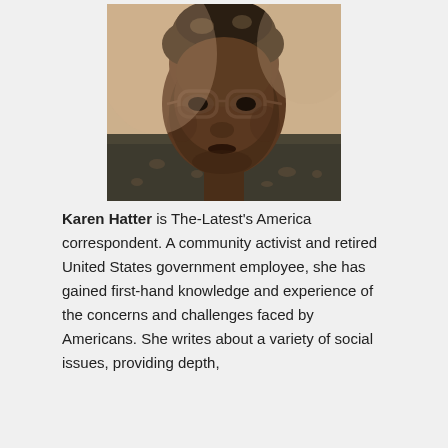[Figure (photo): Close-up photo of Karen Hatter, a Black woman wearing glasses with short natural hair, looking slightly downward. She appears to be in an indoor setting.]
Karen Hatter is The-Latest's America correspondent. A community activist and retired United States government employee, she has gained first-hand knowledge and experience of the concerns and challenges faced by Americans. She writes about a variety of social issues, providing depth,